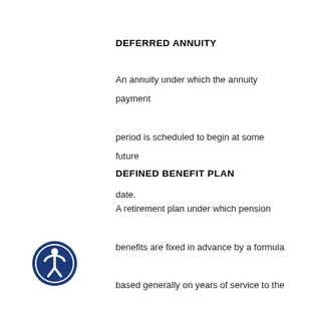DEFERRED ANNUITY
An annuity under which the annuity payment period is scheduled to begin at some future date.
DEFINED BENEFIT PLAN
A retirement plan under which pension benefits are fixed in advance by a formula based generally on years of service to the company multiplied by a specific percentage of wages, usually average earnings over that period or highest average earnings over the
[Figure (illustration): Accessibility icon: blue circle with white human figure outline]